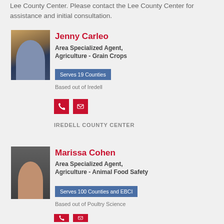Lee County Center. Please contact the Lee County Center for assistance and initial consultation.
[Figure (photo): Photo of Jenny Carleo standing outdoors near farm equipment]
Jenny Carleo
Area Specialized Agent, Agriculture - Grain Crops
Serves 19 Counties
Based out of Iredell
IREDELL COUNTY CENTER
[Figure (photo): Photo of Marissa Cohen, headshot against gray background]
Marissa Cohen
Area Specialized Agent, Agriculture - Animal Food Safety
Serves 100 Counties and EBCI
Based out of Poultry Science